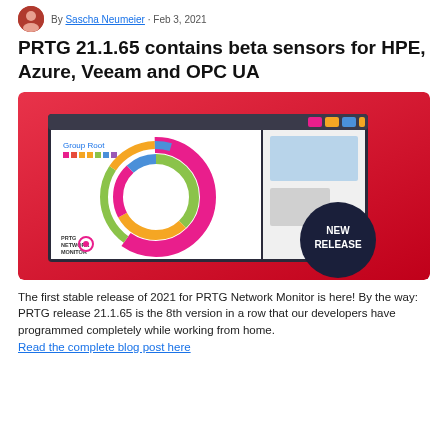By Sascha Neumeier · Feb 3, 2021
PRTG 21.1.65 contains beta sensors for HPE, Azure, Veeam and OPC UA
[Figure (screenshot): PRTG Network Monitor dashboard screenshot showing a donut/sunburst chart with colorful segments (green, yellow, orange, pink, blue) on a red gradient background, with a dark navy circle badge saying 'NEW RELEASE' in the bottom right corner.]
The first stable release of 2021 for PRTG Network Monitor is here! By the way: PRTG release 21.1.65 is the 8th version in a row that our developers have programmed completely while working from home.
Read the complete blog post here